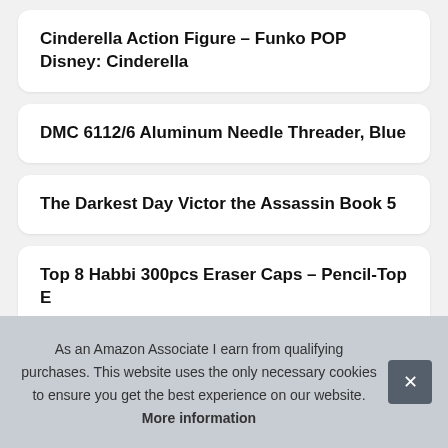Cinderella Action Figure – Funko POP Disney: Cinderella
DMC 6112/6 Aluminum Needle Threader, Blue
The Darkest Day Victor the Assassin Book 5
Top 8 Habbi 300pcs Eraser Caps – Pencil-Top E
Rec
As an Amazon Associate I earn from qualifying purchases. This website uses the only necessary cookies to ensure you get the best experience on our website. More information